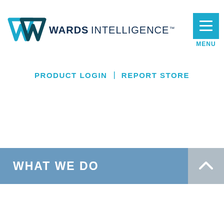[Figure (logo): Wards Intelligence logo with stylized WM mark and text WARDS INTELLIGENCE with TM symbol]
[Figure (other): Blue hamburger menu button with three horizontal bars and MENU label below]
PRODUCT LOGIN | REPORT STORE
WHAT WE DO